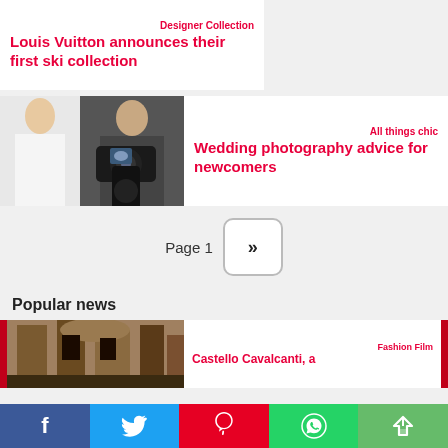[Figure (photo): Two fashion models wearing winter ski outfits]
Designer Collection
Louis Vuitton announces their first ski collection
[Figure (photo): Photographer holding camera at a wedding]
All things chic
Wedding photography advice for newcomers
Page 1  »
Popular news
[Figure (photo): Stone building interior, popular news thumbnail]
Fashion Film
Castello Cavalcanti, a